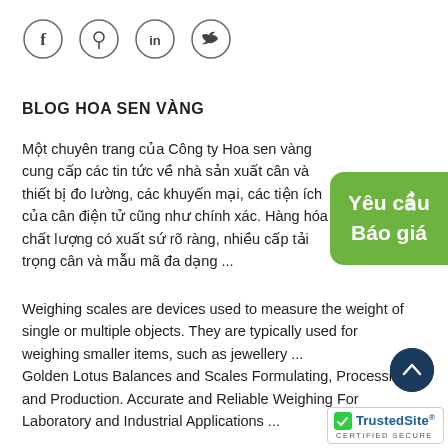[Figure (infographic): Four social media icon circles: Facebook (f), Pinterest (circle with pin), LinkedIn (in), Twitter (bird)]
BLOG HOA SEN VÀNG
Một chuyên trang của Công ty Hoa sen vàng cung cấp các tin tức về nhà sản xuất cân và thiết bị đo lường, các khuyến mại, các tiện ích của cân điện tử cũng như chính xác. Hàng hóa chất lượng có xuất sứ rõ ràng, nhiều cấp tải trọng cân và mẫu mã đa dạng ...
[Figure (infographic): Green rounded badge with text 'Yêu cầu Báo giá']
Weighing scales are devices used to measure the weight of single or multiple objects. They are typically used for weighing smaller items, such as jewellery ...
Golden Lotus Balances and Scales Formulating, Processing and Production. Accurate and Reliable Weighing For Laboratory and Industrial Applications ...
[Figure (illustration): Dark blue circular scroll-to-top button with upward chevron]
[Figure (logo): TrustedSite CERTIFIED SECURE badge with green checkmark]